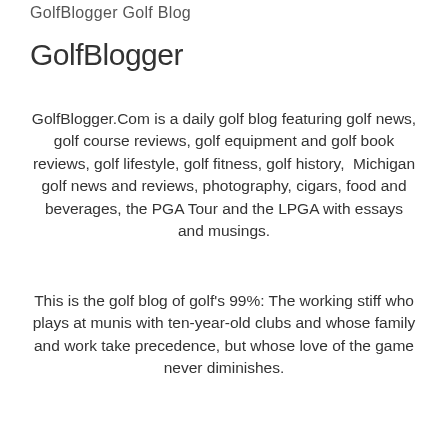GolfBlogger Golf Blog
GolfBlogger
GolfBlogger.Com is a daily golf blog featuring golf news, golf course reviews, golf equipment and golf book reviews, golf lifestyle, golf fitness, golf history,  Michigan golf news and reviews, photography, cigars, food and beverages, the PGA Tour and the LPGA with essays and musings.
This is the golf blog of golf's 99%: The working stiff who plays at munis with ten-year-old clubs and whose family and work take precedence, but whose love of the game never diminishes.